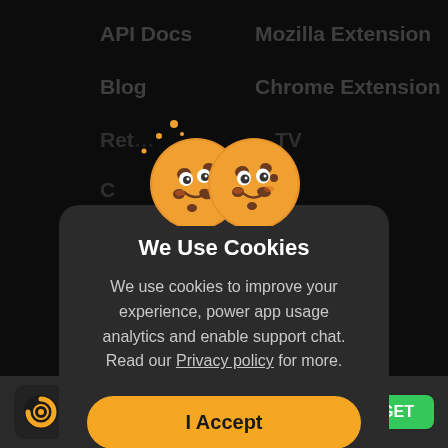API Docs
Mozilla Extension
Blog
Chrome Extension
[Figure (illustration): Two cartoon cookie emojis with smiley faces]
We Use Cookies
We use cookies to improve your experience, power app usage analytics and enable support chat. Read our Privacy policy for more.
I Accept
Manage
(935K)
GET